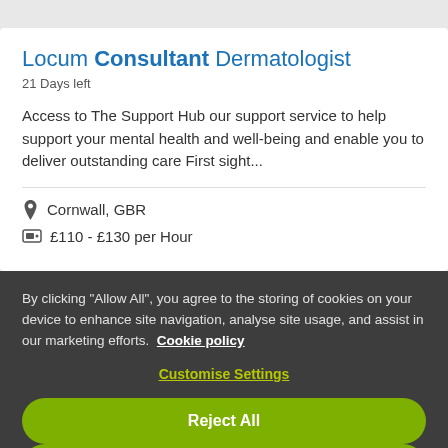Locum Consultant Dermatologist
21 Days left
Access to The Support Hub our support service to help support your mental health and well-being and enable you to deliver outstanding care First sight...
Cornwall, GBR
£110 - £130 per Hour
By clicking "Allow All", you agree to the storing of cookies on your device to enhance site navigation, analyse site usage, and assist in our marketing efforts. Cookie policy
Customise Settings
Reject All
Allow All